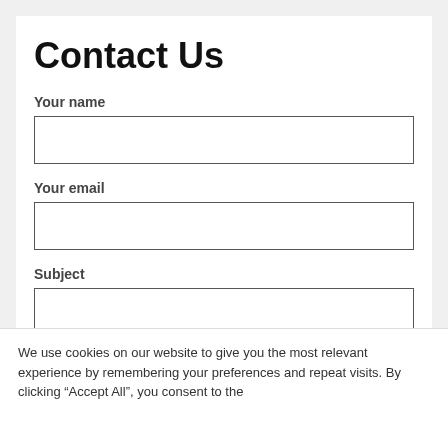Contact Us
Your name
Your email
Subject
Your message (optional)
We use cookies on our website to give you the most relevant experience by remembering your preferences and repeat visits. By clicking “Accept All”, you consent to the